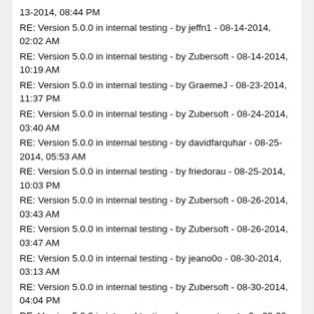13-2014, 08:44 PM
RE: Version 5.0.0 in internal testing - by jeffn1 - 08-14-2014, 02:02 AM
RE: Version 5.0.0 in internal testing - by Zubersoft - 08-14-2014, 10:19 AM
RE: Version 5.0.0 in internal testing - by GraemeJ - 08-23-2014, 11:37 PM
RE: Version 5.0.0 in internal testing - by Zubersoft - 08-24-2014, 03:40 AM
RE: Version 5.0.0 in internal testing - by davidfarquhar - 08-25-2014, 05:53 AM
RE: Version 5.0.0 in internal testing - by friedorau - 08-25-2014, 10:03 PM
RE: Version 5.0.0 in internal testing - by Zubersoft - 08-26-2014, 03:43 AM
RE: Version 5.0.0 in internal testing - by Zubersoft - 08-26-2014, 03:47 AM
RE: Version 5.0.0 in internal testing - by jeano0o - 08-30-2014, 03:13 AM
RE: Version 5.0.0 in internal testing - by Zubersoft - 08-30-2014, 04:04 PM
RE: Version 5.0.0 in internal testing - by concertmaster3 - 08-30-2014, 10:34 PM